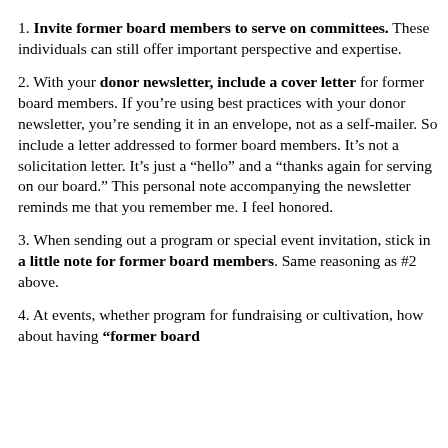1. Invite former board members to serve on committees. These individuals can still offer important perspective and expertise.
2. With your donor newsletter, include a cover letter for former board members. If you’re using best practices with your donor newsletter, you’re sending it in an envelope, not as a self-mailer. So include a letter addressed to former board members. It’s not a solicitation letter. It’s just a “hello” and a “thanks again for serving on our board.” This personal note accompanying the newsletter reminds me that you remember me. I feel honored.
3. When sending out a program or special event invitation, stick in a little note for former board members. Same reasoning as #2 above.
4. At events, whether program for fundraising or cultivation, how about having “former board…